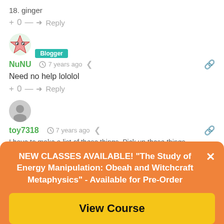18. ginger
+ 0 — → Reply
[Figure (illustration): Star-shaped pink/green monster avatar for user NuNU with Blogger badge]
NuNU  7 years ago
Need no help lololol
+ 0 — → Reply
[Figure (illustration): Generic gray circle avatar for user toy7318]
toy7318  7 years ago
I have to make a list of these things. Pick up these things
NEW CLASSES AVAILABLE! "The Study of Energy Manipulation: Obeah and Witchcraft Metaphysics" - Available for Pre-Order
View Course